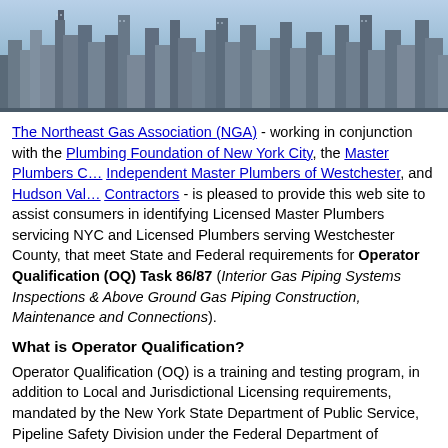[Figure (photo): Aerial/elevated photograph of a city skyline with tall buildings and skyscrapers, likely New York City]
The Northeast Gas Association (NGA) - working in conjunction with the Plumbing Foundation of New York City, the Master Plumbers C[ouncil], Independent Master Plumbers of Westchester, and Hudson Val[ley Gas] Contractors - is pleased to provide this web site to assist consumers in identifying Licensed Master Plumbers servicing NYC and Licensed Plumbers serving Westchester County, that meet State and Federal requirements for Operator Qualification (OQ) Task 86/87 (Interior Gas Piping Systems Inspections & Above Ground Gas Piping Construction, Maintenance and Connections).
What is Operator Qualification?
Operator Qualification (OQ) is a training and testing program, in addition to Local and Jurisdictional Licensing requirements, mandated by the New York State Department of Public Service, Pipeline Safety Division under the Federal Department of Transportation (U.S. DOT) Pipeline Safety and Hazardous Materials Administration (PHMSA). U.S. DOT's Operator Qualification regulation 49 CFR 192 subpart N, requires Utility Companies to develop and maintain a qualification program for individuals performing specific work on gas pipelines. The individuals performing work in this capacity are Master Plumbers within NYC and Licensed Plumbers in Westchester.